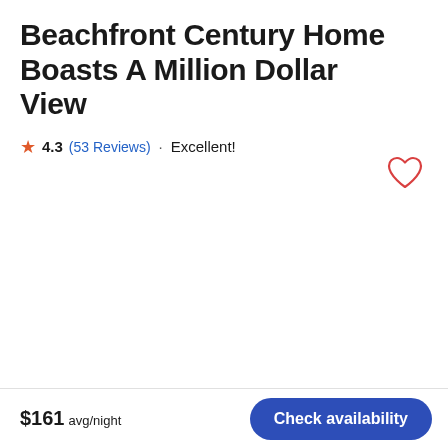Beachfront Century Home Boasts A Million Dollar View
★ 4.3 (53 Reviews) · Excellent!
[Figure (illustration): Heart/favorite icon (outline heart shape in red/coral color) in upper right area of page]
$161 avg/night
Check availability